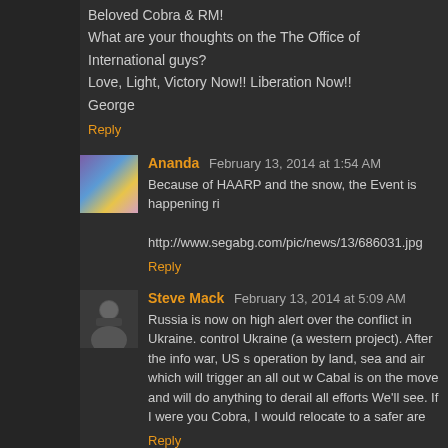Beloved Cobra & RM!
What are your thoughts on the The Office of International guys?
Love, Light, Victory Now!! Liberation Now!!
George
Reply
Ananda  February 13, 2014 at 1:54 AM
Because of HAARP and the snow, the Event is happening ri
http://www.segabg.com/pic/news/13/686031.jpg
Reply
Steve Mack  February 13, 2014 at 5:09 AM
Russia is now on high alert over the conflict in Ukraine. control Ukraine (a western project). After the info war, US s operation by land, sea and air which will trigger an all out w Cabal is on the move and will do anything to derail all efforts We'll see. If I were you Cobra, I would relocate to a safer are
Reply
Replies